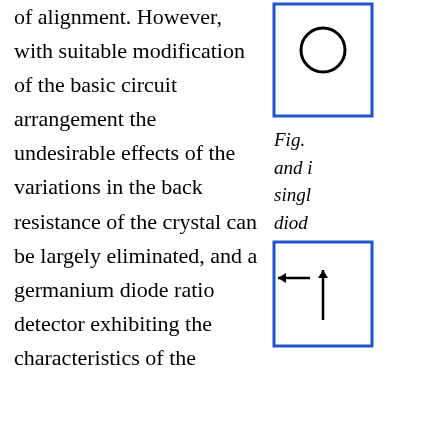of alignment. However, with suitable modification of the basic circuit arrangement the undesirable effects of the variations in the back resistance of the crystal can be largely eliminated, and a germanium diode ratio detector exhibiting the characteristics of the
[Figure (schematic): Top portion of a circuit schematic diagram showing a component (circle/diode symbol) inside a blue-bordered rectangle]
Fig. ... and i... singl... diod...
[Figure (schematic): Bottom portion of a circuit schematic diagram inside a blue-bordered rectangle with arrows indicating connections]